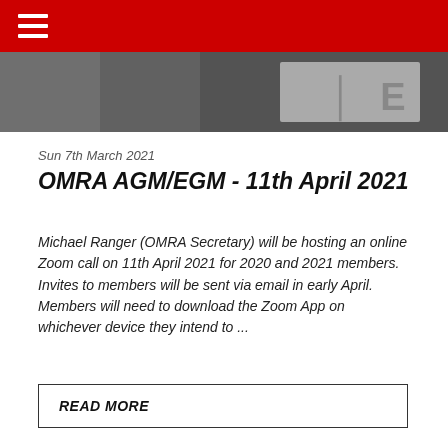≡
[Figure (photo): Partial photo strip showing a blurred/cropped image with letters visible on the right side]
Sun 7th March 2021
OMRA AGM/EGM - 11th April 2021
Michael Ranger (OMRA Secretary) will be hosting an online Zoom call on 11th April 2021 for 2020 and 2021 members. Invites to members will be sent via email in early April. Members will need to download the Zoom App on whichever device they intend to ...
READ MORE